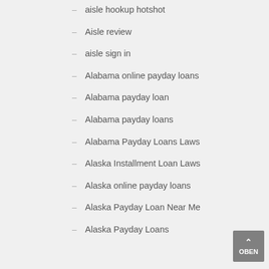aisle hookup hotshot
Aisle review
aisle sign in
Alabama online payday loans
Alabama payday loan
Alabama payday loans
Alabama Payday Loans Laws
Alaska Installment Loan Laws
Alaska online payday loans
Alaska Payday Loan Near Me
Alaska Payday Loans